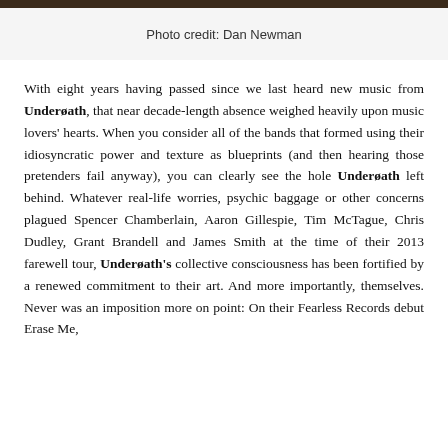[Figure (photo): Dark photo strip at top of page, partially cropped]
Photo credit: Dan Newman
With eight years having passed since we last heard new music from Underøath, that near decade-length absence weighed heavily upon music lovers' hearts. When you consider all of the bands that formed using their idiosyncratic power and texture as blueprints (and then hearing those pretenders fail anyway), you can clearly see the hole Underøath left behind. Whatever real-life worries, psychic baggage or other concerns plagued Spencer Chamberlain, Aaron Gillespie, Tim McTague, Chris Dudley, Grant Brandell and James Smith at the time of their 2013 farewell tour, Underøath's collective consciousness has been fortified by a renewed commitment to their art. And more importantly, themselves. Never was an imposition more on point: On their Fearless Records debut Erase Me,